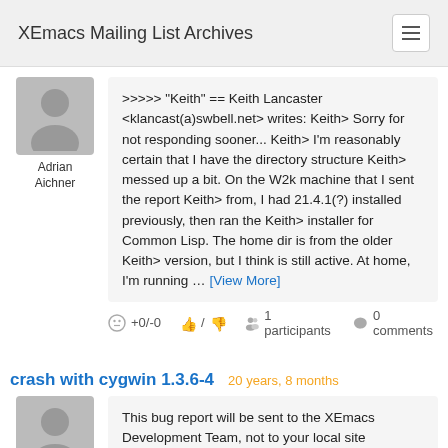XEmacs Mailing List Archives
Adrian Aichner
>>>>> "Keith" == Keith Lancaster <klancast(a)swbell.net> writes: Keith> Sorry for not responding sooner... Keith> I'm reasonably certain that I have the directory structure Keith> messed up a bit. On the W2k machine that I sent the report Keith> from, I had 21.4.1(?) installed previously, then ran the Keith> installer for Common Lisp. The home dir is from the older Keith> version, but I think is still active. At home, I'm running … [View More]
+0/-0  👍 / 👎  1 participants  0 comments
crash with cygwin 1.3.6-4   20 years, 8 months
raman
This bug report will be sent to the XEmacs Development Team, not to your local site managers!! Please write in English, because the